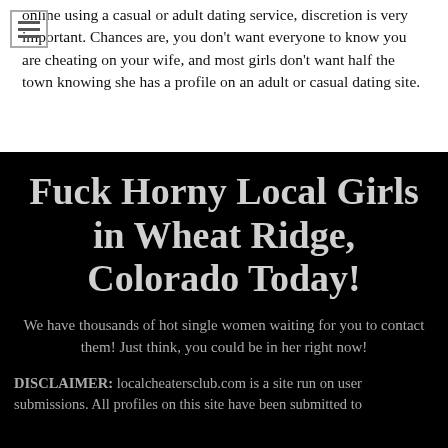online using a casual or adult dating service, discretion is very important. Chances are, you don't want everyone to know you are cheating on your wife, and most girls don't want half the town knowing she has a profile on an adult or casual dating site.
Fuck Horny Local Girls in Wheat Ridge, Colorado Today!
We have thousands of hot single women waiting for you to contact them! Just think, you could be in her right now!
DISCLAIMER: localcheatersclub.com is a site run on user submissions. All profiles on this site have been submitted to